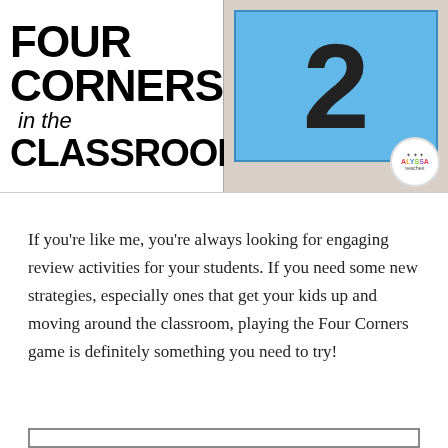[Figure (illustration): Split image: left half shows bold text 'FOUR CORNERS in the CLASSROOM' on white background; right half shows a blue poster with the number '2' posted on a white wall, with an 'Alyssa Teaches' circular badge in the bottom right corner.]
If you're like me, you're always looking for engaging review activities for your students. If you need some new strategies, especially ones that get your kids up and moving around the classroom, playing the Four Corners game is definitely something you need to try!